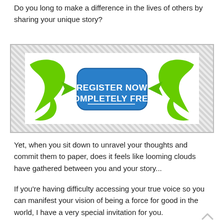Do you long to make a difference in the lives of others by sharing your unique story?
[Figure (illustration): A promotional banner with green decorative arrow/horn shapes on either side of a blue rounded rectangle button that reads 'REGISTER NOW COMPLETELY FREE!' in bold white text, set against a hatched gray background.]
Yet, when you sit down to unravel your thoughts and commit them to paper, does it feels like looming clouds have gathered between you and your story...
If you're having difficulty accessing your true voice so you can manifest your vision of being a force for good in the world, I have a very special invitation for you.